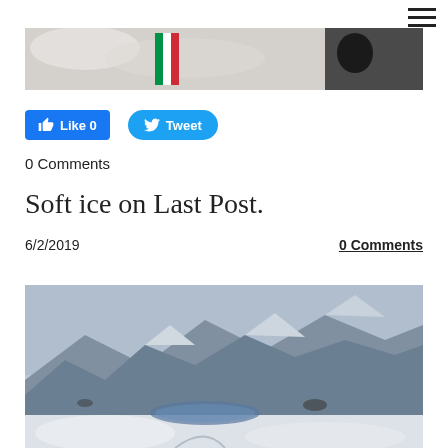[Figure (photo): Top partial photo showing snowy scene with an Italian flag stripe and dark figure on right side]
[Figure (other): Facebook Like button showing Like 0]
[Figure (other): Twitter Tweet button]
0 Comments
Soft ice on Last Post.
6/2/2019
0 Comments
[Figure (photo): Snow-covered mountain landscape with a partially frozen lake in a valley, blue-grey winter sky]